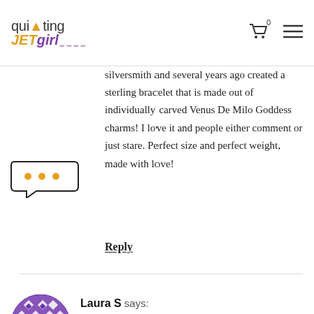quilting JETgirl
silversmith and several years ago created a sterling bracelet that is made out of individually carved Venus De Milo Goddess charms! I love it and people either comment or just stare. Perfect size and perfect weight, made with love!
Reply
Laura S says:
July 22, 2018 at 12:41 pm
I can't stand the feel of any jewelry on me so I don't wear any, not even my wedding ring. I have a couple of sentimental pieces that belonged to my sister and I keep